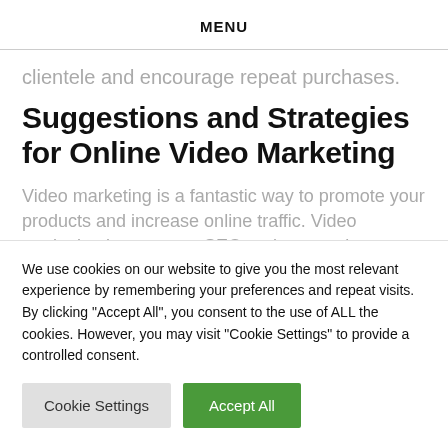MENU
clientele and encourage repeat purchases.
Suggestions and Strategies for Online Video Marketing
Video marketing is a fantastic way to promote your products and increase online traffic. Video marketing boosts your SEO and conversion rate
We use cookies on our website to give you the most relevant experience by remembering your preferences and repeat visits. By clicking "Accept All", you consent to the use of ALL the cookies. However, you may visit "Cookie Settings" to provide a controlled consent.